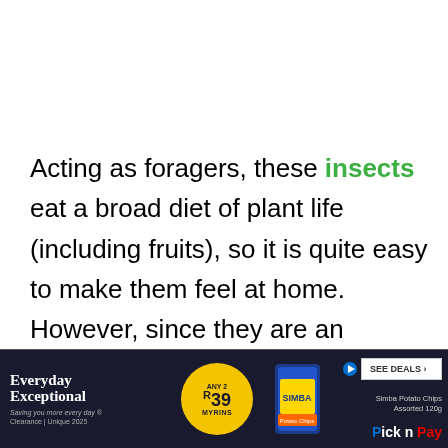Acting as foragers, these insects eat a broad diet of plant life (including fruits), so it is quite easy to make them feel at home. However, since they are an invasive species to the United States, Canada, and other parts of the world, there are widespread efforts to minimize the population with pesticides and protective measures.
[Figure (infographic): Advertisement banner for Pick n Pay: 'Everyday Exceptional' with 'Any 2 R39' yellow circle promotion, Simba Potato Chips Assorted 120g product image, and 'SEE DEALS' button.]